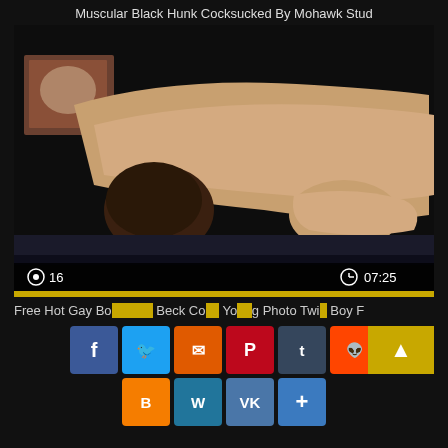Muscular Black Hunk Cocksucked By Mohawk Stud
[Figure (photo): Video thumbnail showing two people, video player with view count 16 and duration 07:25, gold progress bar]
Free Hot Gay Bo... And... Co... Y...g Photo Twi... Boy F
[Figure (infographic): Social share buttons: Facebook, Twitter, Email, Pinterest, Tumblr, Reddit, Blogger, WordPress, VK, Add. Gold box with up arrow on right.]